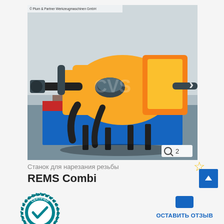[Figure (photo): Yellow REMS Combi pipe threading machine on a blue metal stand, photographed in a workshop setting. Copyright © Plum & Partner Werkzeugmaschinen GmbH. Shows a navigation arrow on the right and a zoom badge '2' in the bottom-right corner.]
Станок для нарезания резьбы
REMS  Combi
[Figure (logo): CERTIFIED DEALER badge in teal/dark cyan color with a checkmark inside a gear/cog-like circular stamp design]
ОСТАВИТЬ ОТЗЫВ